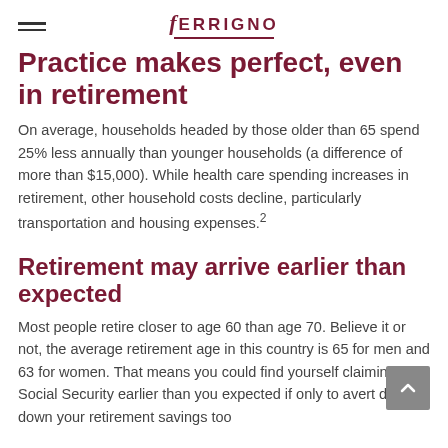FERRIGNO
Practice makes perfect, even in retirement
On average, households headed by those older than 65 spend 25% less annually than younger households (a difference of more than $15,000). While health care spending increases in retirement, other household costs decline, particularly transportation and housing expenses.²
Retirement may arrive earlier than expected
Most people retire closer to age 60 than age 70. Believe it or not, the average retirement age in this country is 65 for men and 63 for women. That means you could find yourself claiming Social Security earlier than you expected if only to avert drawing down your retirement savings too